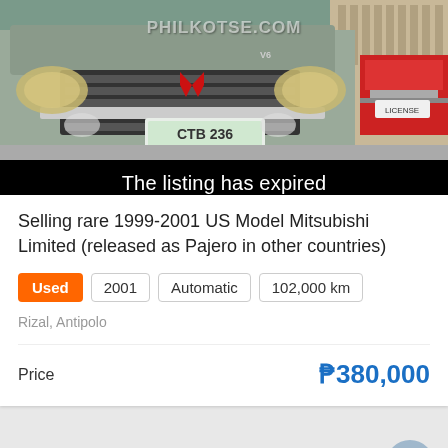[Figure (photo): Front view of a Mitsubishi SUV (Montero/Pajero) with license plate CTB 236, parked next to a red vehicle. PHILKOTSE.COM watermark visible. Black banner overlaid reading 'The listing has expired'.]
Selling rare 1999-2001 US Model Mitsubishi Limited (released as Pajero in other countries)
Used  2001  Automatic  102,000 km
Rizal, Antipolo
Price  ₱380,000
[Figure (map): Map placeholder area (light gray background) with a camera/image placeholder icon in the center and a scroll-to-top button (chevron up) on the right side.]